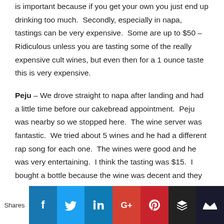is important because if you get your own you just end up drinking too much.  Secondly, especially in napa, tastings can be very expensive.  Some are up to $50 – Ridiculous unless you are tasting some of the really expensive cult wines, but even then for a 1 ounce taste this is very expensive.
Peju – We drove straight to napa after landing and had a little time before our cakebread appointment.  Peju was nearby so we stopped here.  The wine server was fantastic.  We tried about 5 wines and he had a different rap song for each one.  The wines were good and he was very entertaining.  I think the tasting was $15.  I bought a bottle because the wine was decent and they put the tasting fee towards a bottle, so the $30 merlot only cost
Shares | Facebook | Twitter | LinkedIn | Google+ | Pinterest | Buffer | Crown